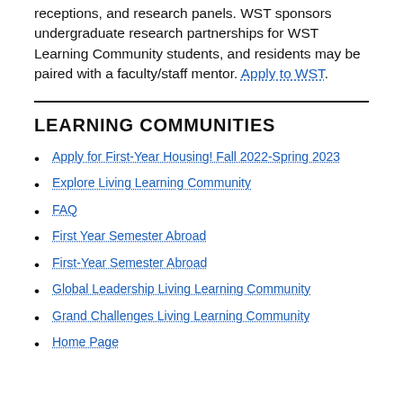receptions, and research panels. WST sponsors undergraduate research partnerships for WST Learning Community students, and residents may be paired with a faculty/staff mentor. Apply to WST.
LEARNING COMMUNITIES
Apply for First-Year Housing! Fall 2022-Spring 2023
Explore Living Learning Community
FAQ
First Year Semester Abroad
First-Year Semester Abroad
Global Leadership Living Learning Community
Grand Challenges Living Learning Community
Home Page